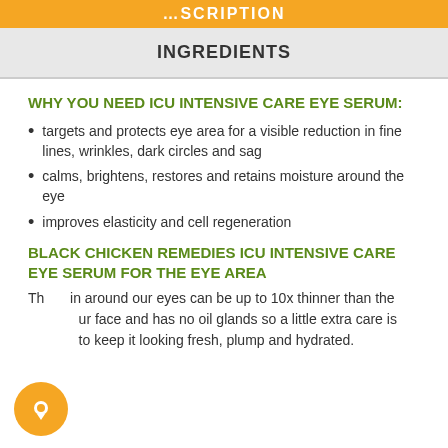RIPTION
INGREDIENTS
WHY YOU NEED ICU INTENSIVE CARE EYE SERUM:
targets and protects eye area for a visible reduction in fine lines, wrinkles, dark circles and sag
calms, brightens, restores and retains moisture around the eye
improves elasticity and cell regeneration
BLACK CHICKEN REMEDIES ICU INTENSIVE CARE EYE SERUM FOR THE EYE AREA
The skin around our eyes can be up to 10x thinner than the rest of our face and has no oil glands so a little extra care is needed to keep it looking fresh, plump and hydrated.